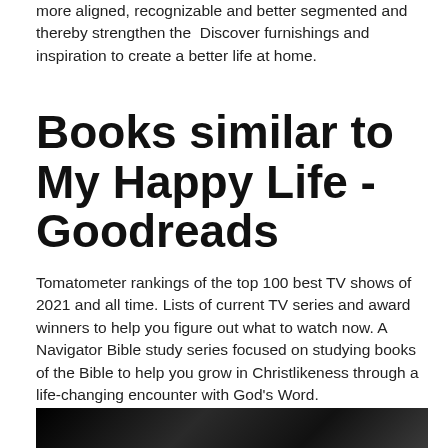more aligned, recognizable and better segmented and thereby strengthen the  Discover furnishings and inspiration to create a better life at home.
Books similar to My Happy Life - Goodreads
Tomatometer rankings of the top 100 best TV shows of 2021 and all time. Lists of current TV series and award winners to help you figure out what to watch now. A Navigator Bible study series focused on studying books of the Bible to help you grow in Christlikeness through a life-changing encounter with God's Word.
[Figure (photo): Dark/black image strip at the bottom of the page]